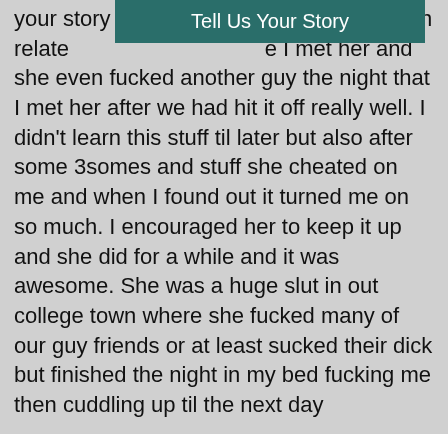your story ... y but I can relate ... e I met her and she even fucked another guy the night that I met her after we had hit it off really well. I didn't learn this stuff til later but also after some 3somes and stuff she cheated on me and when I found out it turned me on so much. I encouraged her to keep it up and she did for a while and it was awesome. She was a huge slut in out college town where she fucked many of our guy friends or at least sucked their dick but finished the night in my bed fucking me then cuddling up til the next day
Tuesday, December 22, 2015 4:55 AM
Guest
Very hot stories guys! I also love to watch my wife with other men, and women. Just last